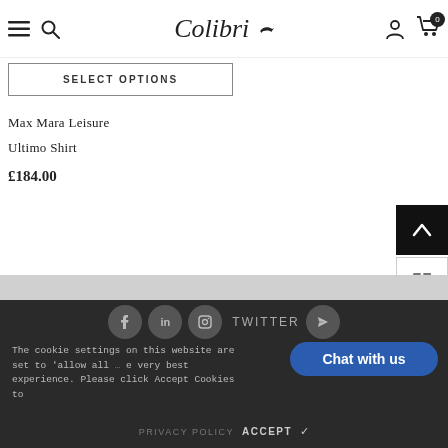Colibri – navigation bar with menu, search, logo, account, cart (0)
SELECT OPTIONS
Max Mara Leisure
Ultimo Shirt
£184.00
[Figure (screenshot): Scroll-to-top and navigation icon buttons on the right side]
[Figure (screenshot): Gray divider section]
The cookie settings on this website are set to 'allow all … very best experience. Please click Accept Cookies to  PRIVACY POLICY  ACCEPT ✓  Chat with us